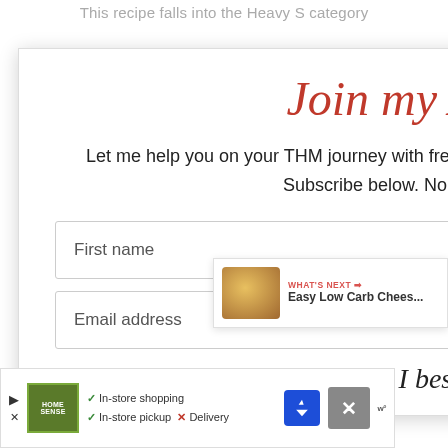This recipe falls into the Heavy S category
Join my A-List!
Let me help you on your THM journey with free recipes, tips, encouragement and more! Subscribe below. No spam, I promise!
First name
Email address
How can I best help you?
[Figure (infographic): Floating sidebar with heart/favorite button showing count 3, and a share button]
[Figure (screenshot): What's Next widget showing image of Easy Low Carb Chees... dish]
[Figure (screenshot): Advertisement banner for Home Sense with in-store shopping, in-store pickup options, and delivery with X]